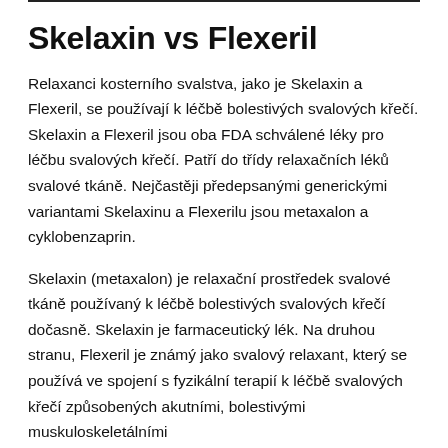Skelaxin vs Flexeril
Relaxanci kosterního svalstva, jako je Skelaxin a Flexeril, se používají k léčbě bolestivých svalových křečí. Skelaxin a Flexeril jsou oba FDA schválené léky pro léčbu svalových křečí. Patří do třídy relaxačních léků svalové tkáně. Nejčastěji předepsanými generickými variantami Skelaxinu a Flexerilu jsou metaxalon a cyklobenzaprin.
Skelaxin (metaxalon) je relaxační prostředek svalové tkáně používaný k léčbě bolestivých svalových křečí dočasně. Skelaxin je farmaceutický lék. Na druhou stranu, Flexeril je známý jako svalový relaxant, který se používá ve spojení s fyzikální terapií k léčbě svalových křečí způsobených akutními, bolestivými muskuloskeletálními stavy.